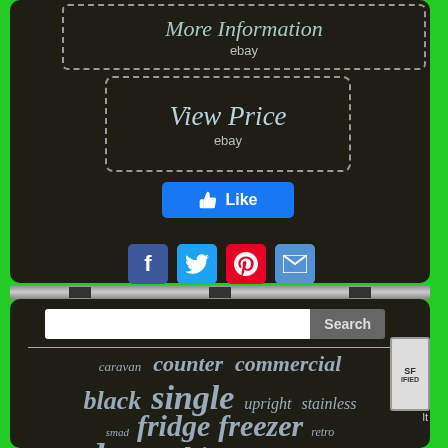[Figure (screenshot): Website screenshot showing two dashed-border buttons: 'More Information ebay' and 'View Price ebay', a Facebook Like button, social share icons (Facebook, Twitter, Pinterest, Email), a search bar, and a tag cloud with keywords: caravan, counter, commercial, black, single, upright, stainless, smad, fridge, freezer, retro, door, white, table, silver, bottle]
More Information
ebay
View Price
ebay
Like
caravan  counter  commercial
black  single  upright  stainless
smad  fridge  freezer  retro
door  white  table  silver  bottle